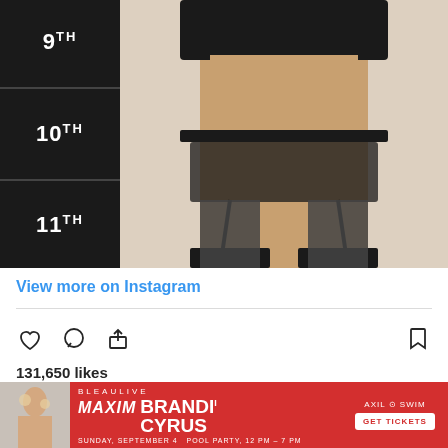[Figure (photo): Instagram post showing a person in black lingerie with garter belt and stockings, standing next to a dark dresser with labels 9TH, 10TH, 11TH]
View more on Instagram
131,650 likes
Add a comment...
[Figure (photo): Advertisement banner for Maxim Bleaulive event featuring Brandi Cyrus, Axil Swim, Sunday September 4, Pool Party 12 PM - 7 PM, Get Tickets]